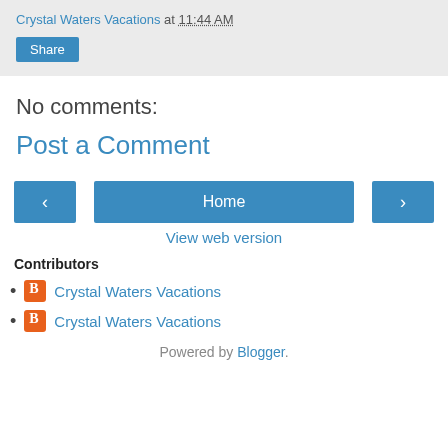Crystal Waters Vacations at 11:44 AM
Share
No comments:
Post a Comment
< Home >
View web version
Contributors
Crystal Waters Vacations
Crystal Waters Vacations
Powered by Blogger.